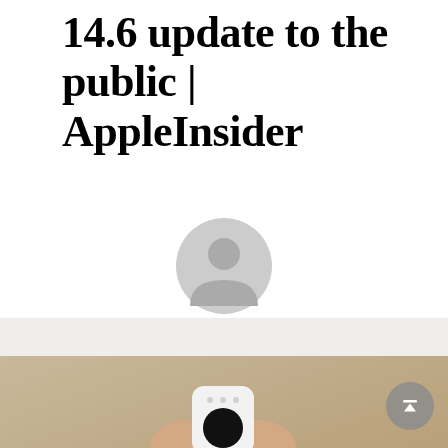14.6 update to the public | AppleInsider
[Figure (illustration): Generic user avatar icon — circular grey silhouette of a person on white background]
MELL
[Figure (photo): Hands holding a small white Apple HomePod mini device against a wooden surface background]